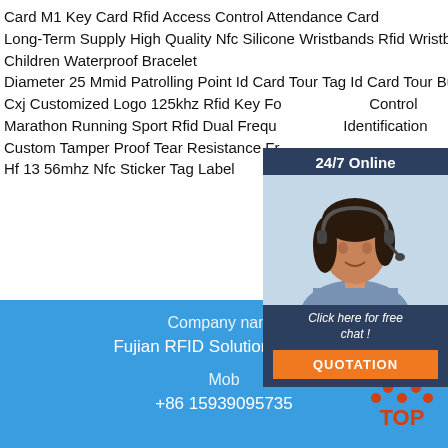Card M1 Key Card Rfid Access Control Attendance Card
Long-Term Supply High Quality Nfc Silicone Wristbands Rfid Wristbands Adults Children Waterproof Bracelet
Diameter 25 Mmid Patrolling Point Id Card Tour Tag Id Card Tour Button
Cxj Customized Logo 125khz Rfid Key Fob Access Control
Marathon Running Sport Rfid Dual Frequency Identification
Custom Tamper Proof Tear Resistance Fr Hf 13 56mhz Nfc Sticker Tag Label
[Figure (photo): Customer service representative with headset, smiling, used in a live chat widget with '24/7 Online' header and 'Click here for free chat!' and QUOTATION button]
Company name
Fujian RFID Solution Co., Ltd
Mob
+86 15939095735
[Figure (logo): TOP logo with orange dot triangle arrangement and orange TOP text]